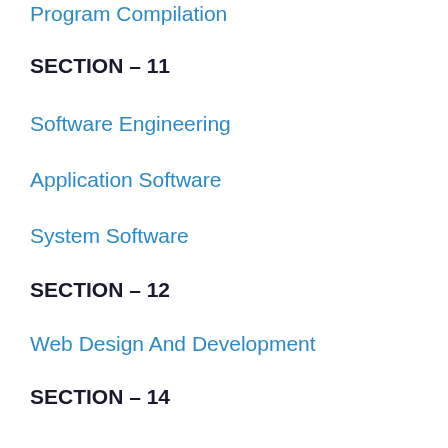Program Compilation
SECTION – 11
Software Engineering
Application Software
System Software
SECTION – 12
Web Design And Development
SECTION – 14
Database Management Systems ( DBMS )
Entity Relationship Diagram ( ERD )